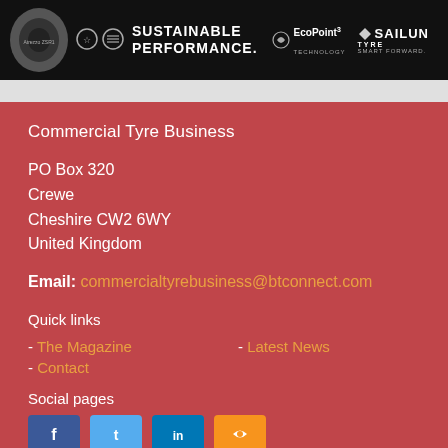[Figure (illustration): Sailun tyre banner advertisement with tyre image, certification badges, 'SUSTAINABLE PERFORMANCE.' text, EcoPoint3 technology logo, and Sailun Tyre Smart Forward branding on black background]
Commercial Tyre Business
PO Box 320
Crewe
Cheshire CW2 6WY
United Kingdom
Email: commercialtyrebusiness@btconnect.com
Quick links
- The Magazine
- Latest News
- Contact
Social pages
[Figure (illustration): Four social media icon buttons: Facebook (blue), Twitter (light blue), LinkedIn (dark blue), RSS (orange)]